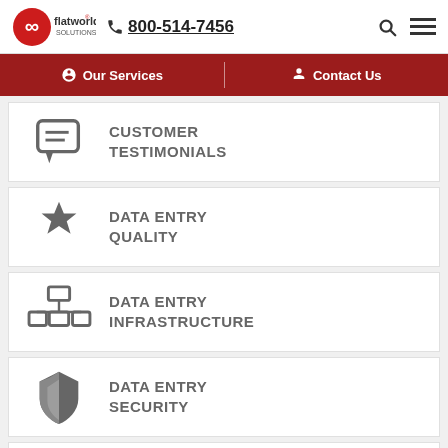flatworld solutions | 800-514-7456
Our Services | Contact Us
CUSTOMER TESTIMONIALS
DATA ENTRY QUALITY
DATA ENTRY INFRASTRUCTURE
DATA ENTRY SECURITY
DATA ENTRY TURNAROUND TIME